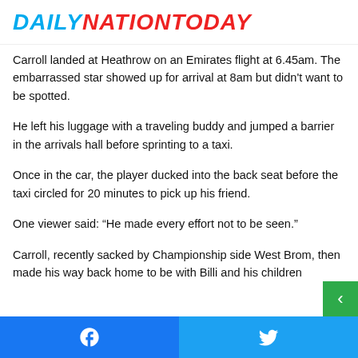DAILYNATIONTODAY
Carroll landed at Heathrow on an Emirates flight at 6.45am. The embarrassed star showed up for arrival at 8am but didn't want to be spotted.
He left his luggage with a traveling buddy and jumped a barrier in the arrivals hall before sprinting to a taxi.
Once in the car, the player ducked into the back seat before the taxi circled for 20 minutes to pick up his friend.
One viewer said: “He made every effort not to be seen.”
Carroll, recently sacked by Championship side West Brom, then made his way back home to be with Billi and his children
Facebook share | Twitter share